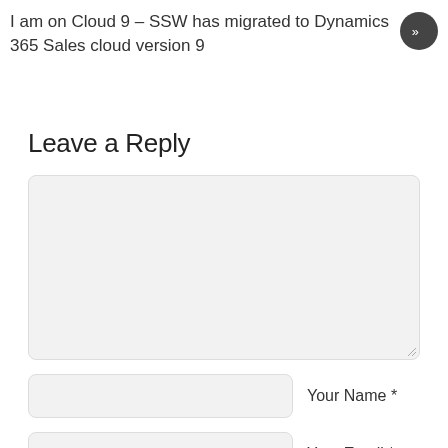I am on Cloud 9 – SSW has migrated to Dynamics 365 Sales cloud version 9
Leave a Reply
[Figure (screenshot): Comment text area input field, large, with light gray background and rounded corners]
Your Name *
Your Email *